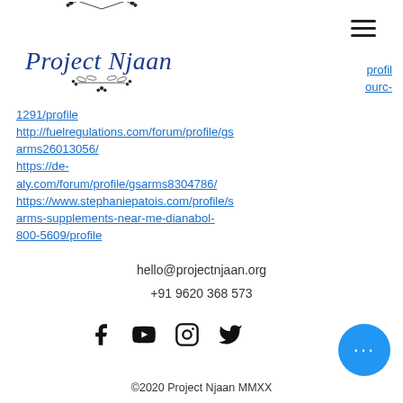[Figure (logo): Project Njaan logo with botanical/floral wreath illustration and cursive text]
profil ourc-1291/profile http://fuelregulations.com/forum/profile/gsarms26013056/ https://de-aly.com/forum/profile/gsarms8304786/ https://www.stephaniepatois.com/profile/sarms-supplements-near-me-dianabol-800-5609/profile
hello@projectnjaan.org
+91 9620 368 573
[Figure (infographic): Social media icons: Facebook, YouTube, Instagram, Twitter]
©2020 Project Njaan MMXX